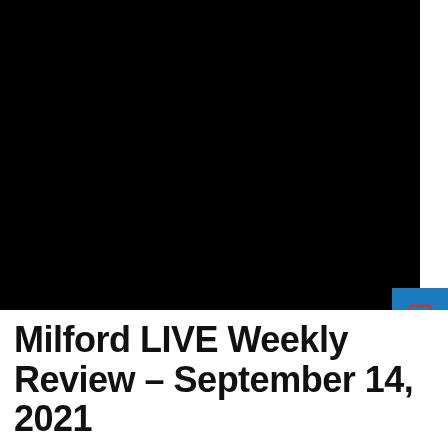[Figure (photo): Large black image area — photograph with very dark/black exposure, possibly a news or event image for Milford LIVE Weekly Review article]
Milford LIVE Weekly Review – September 14, 2021
SONJA FREY / SEPTEMBER 14, 2021 /